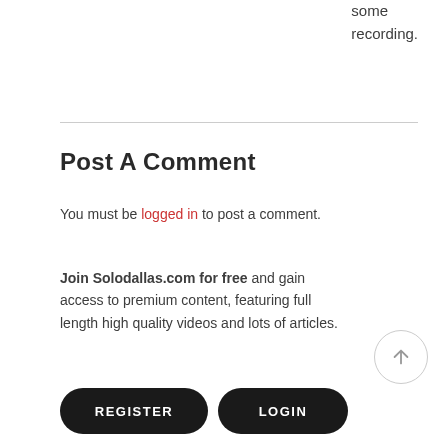some recording.
Post A Comment
You must be logged in to post a comment.
Join Solodallas.com for free and gain access to premium content, featuring full length high quality videos and lots of articles.
REGISTER
LOGIN